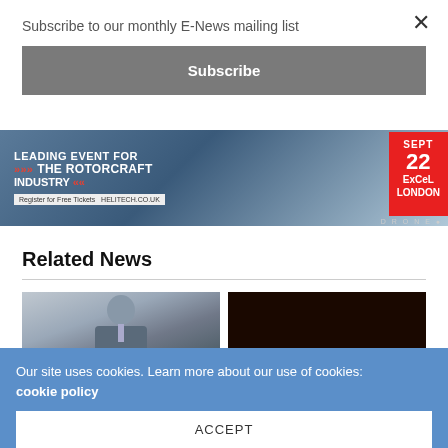Subscribe to our monthly E-News mailing list
×
Subscribe
[Figure (photo): Advertisement banner for Helitech event - LEADING EVENT FOR THE ROTORCRAFT INDUSTRY, Register for Free Tickets, helitech.co.uk, SEPT 22, ExCeL LONDON, DRONE]
Related News
[Figure (photo): Man in dark suit and tie, headshot thumbnail]
[Figure (photo): Dark/night scene thumbnail]
Our site uses cookies. Learn more about our use of cookies: cookie policy
ACCEPT